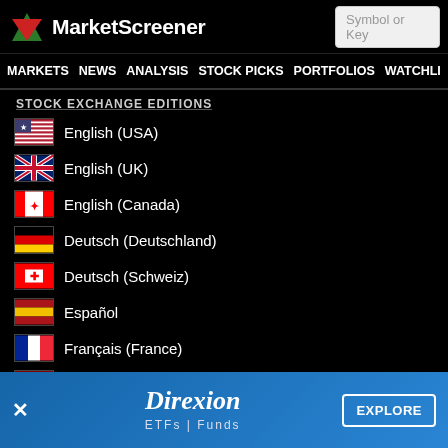MarketScreener — Symbol or Key
STOCK EXCHANGE EDITIONS
English (USA)
English (UK)
English (Canada)
Deutsch (Deutschland)
Deutsch (Schweiz)
Español
Français (France)
Français (Suisse)
Italiano
Nederlands (Nederland)
[Figure (infographic): Direxion ETFs | Funds advertisement banner with EXPLORE button]